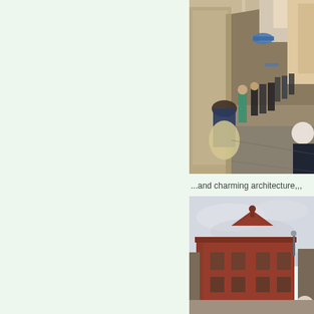[Figure (photo): Street scene with people walking along a narrow European pedestrian shopping street with old stone buildings and storefronts]
...and charming architecture,,,
[Figure (photo): Historic red brick building with ornate architecture and a grey cloudy sky, with an elderly man visible in the lower right corner]